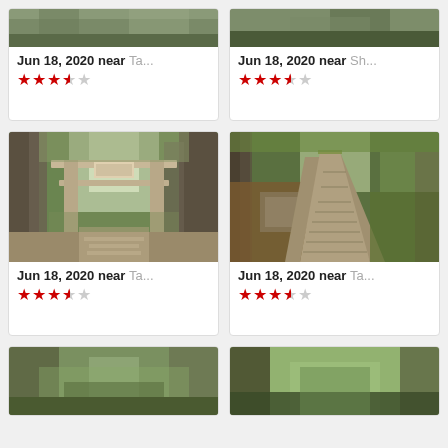[Figure (photo): Partial view of a forest landscape photo at top of card]
Jun 18, 2020 near Ta...
[Figure (other): 3.5 out of 5 star rating]
[Figure (photo): Partial view of a forest/shrine photo at top of card]
Jun 18, 2020 near Sh...
[Figure (other): 3.5 out of 5 star rating]
[Figure (photo): Photo of a Japanese torii gate in a cedar forest with stone path]
Jun 18, 2020 near Ta...
[Figure (other): 3.5 out of 5 star rating]
[Figure (photo): Photo of a wooden boardwalk path through a forest with a stream]
Jun 18, 2020 near Ta...
[Figure (other): 3.5 out of 5 star rating]
[Figure (photo): Partial bottom view of a forest photo]
[Figure (photo): Partial bottom view of a forest photo]